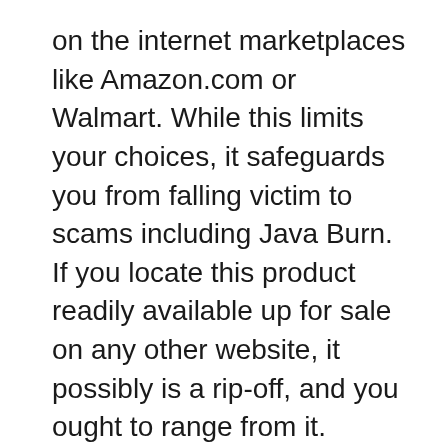on the internet marketplaces like Amazon.com or Walmart. While this limits your choices, it safeguards you from falling victim to scams including Java Burn. If you locate this product readily available up for sale on any other website, it possibly is a rip-off, and you ought to range from it.
Given that you can just purchase from the manufacturer's site, you can conserve a great deal of money by eliminating brokers, intermediaries, as well as intermediators. You can additionally be sure of obtaining the actual bargain when buying Java Burn straight from the producer. It is readily available in three unique packages– the 30, 90, and also 180-day supply. Below is a break down of the pricing: